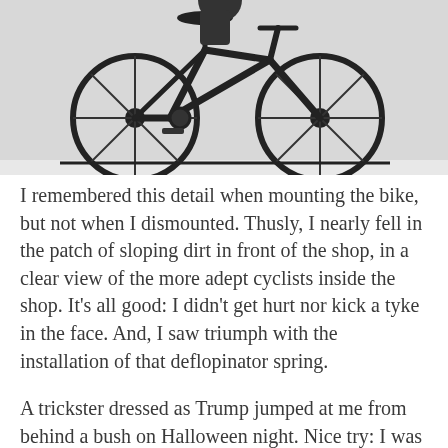[Figure (illustration): Black and white illustration of a bicycle (partial view showing front and rear wheels, frame, seat, and pedals) on a light gray background, cropped at the top.]
I remembered this detail when mounting the bike, but not when I dismounted. Thusly, I nearly fell in the patch of sloping dirt in front of the shop, in a clear view of the more adept cyclists inside the shop. It's all good: I didn't get hurt nor kick a tyke in the face. And, I saw triumph with the installation of that deflopinator spring.
A trickster dressed as Trump jumped at me from behind a bush on Halloween night. Nice try: I was still in shock from the morning's discovery. I was so lost in my thoughts that I didn't react appropriately: I glanced over my shoulder blankly